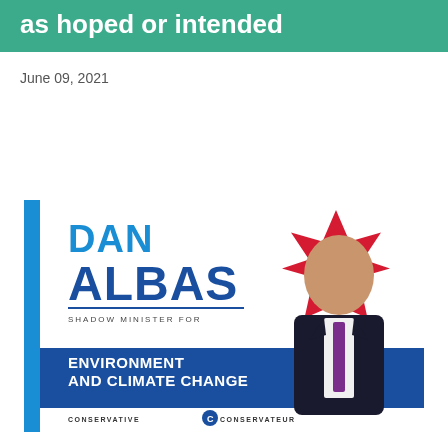as hoped or intended
June 09, 2021
[Figure (photo): Campaign banner for Dan Albas, Shadow Minister for Environment and Climate Change, Conservative Party. Shows Dan Albas in a suit with a red maple leaf background, with blue sidebar and party branding.]